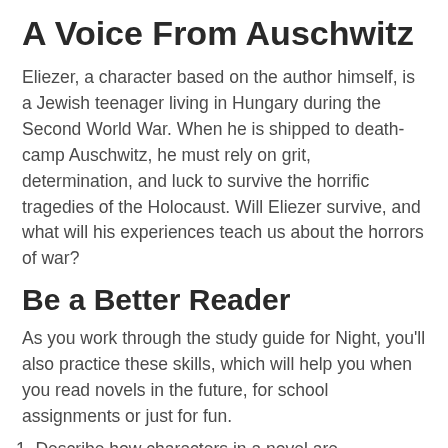A Voice From Auschwitz
Eliezer, a character based on the author himself, is a Jewish teenager living in Hungary during the Second World War. When he is shipped to death-camp Auschwitz, he must rely on grit, determination, and luck to survive the horrific tragedies of the Holocaust. Will Eliezer survive, and what will his experiences teach us about the horrors of war?
Be a Better Reader
As you work through the study guide for Night, you'll also practice these skills, which will help you when you read novels in the future, for school assignments or just for fun.
1. Describe how characters in a novel are developed.
2. Describe the plot development and structure of a